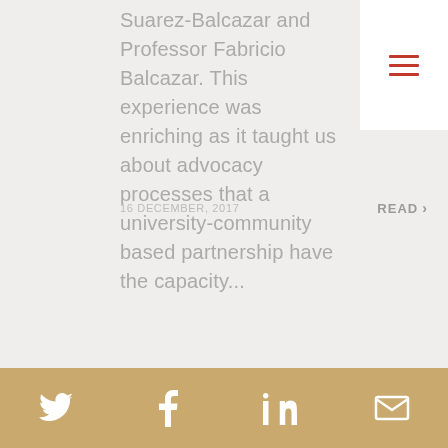Suarez-Balcazar and Professor Fabricio Balcazar. This experience was enriching as it taught us about advocacy processes that a university-community based partnership have the capacity...
16 DECEMBER, 2017
READ >
[Figure (other): Hamburger menu icon with three red horizontal lines on white background in top-right corner]
Social media icons: Twitter, Facebook, LinkedIn, Email on gold/tan background